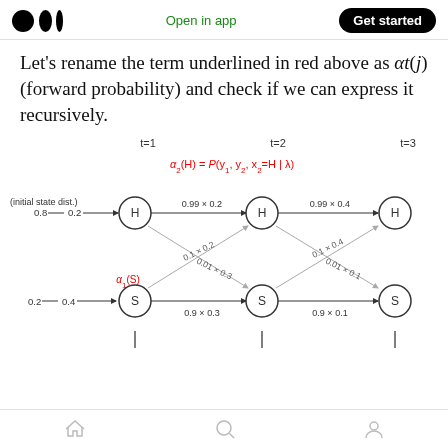Open in app  Get started
Let's rename the term underlined in red above as αt(j) (forward probability) and check if we can express it recursively.
[Figure (other): HMM forward probability diagram showing states H and S at t=1, t=2, t=3 with transition probabilities. At t=1: initial state dist. 0.8→0.2→H, 0.2→0.4→S. Transitions: H to H: 0.99×0.2, H to S: 0.01×0.3, S to H: 0.1×0.2, S to S: 0.9×0.3. At t=2 to t=3: H to H: 0.99×0.4, H to S: 0.01×0.1, S to H: 0.1×0.4, S to S: 0.9×0.1. Red label α₂(H) = P(y₁, y₂, x₂=H | λ) at t=2. Red label α₁(S) at t=1.]
Home  Search  Account